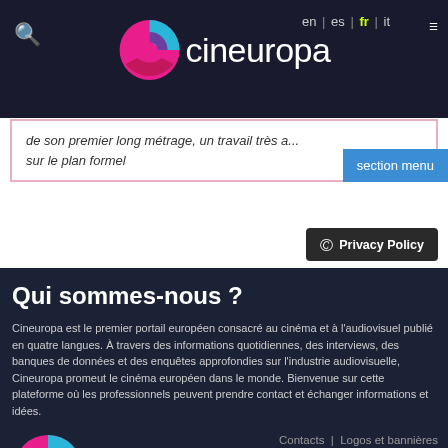[Figure (logo): Cineuropa logo with colorful C icon and white cineuropa text on dark background header bar]
de son premier long métrage, un travail très a... sur le plan formel
section menu
Privacy Policy
Qui sommes-nous ?
Cineuropa est le premier portail européen consacré au cinéma et à l'audiovisuel publié en quatre langues. À travers des informations quotidiennes, des interviews, des banques de données et des enquêtes approfondies sur l'industrie audiovisuelle, Cineuropa promeut le cinéma européen dans le monde. Bienvenue sur cette plateforme où les professionnels peuvent prendre contact et échanger informations et idées.
[Figure (logo): Cineuropa logo large with colorful C icon and white cineuropa text on dark background]
Contacts | Logos et bannières